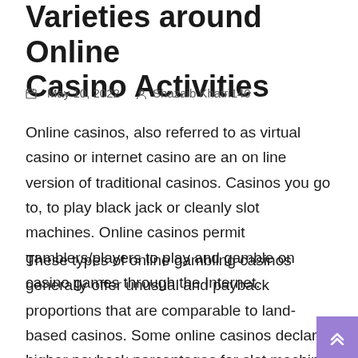Varieties around Online Casino Activities
May 10, 2022   Shazaib Khatri140
Online casinos, also referred to as virtual casino or internet casino are an on line version of traditional casinos. Casinos you go to, to play black jack or cleanly slot machines. Online casinos permit gamblers/players to play and gamble on casino games through the Internet.
These types of online gambling casinos generally offer unusual and payback proportions that are comparable to land-based casinos. Some online casinos declare higher payback percentages for slot machine games, and some publish expense percentage audits on the websites.